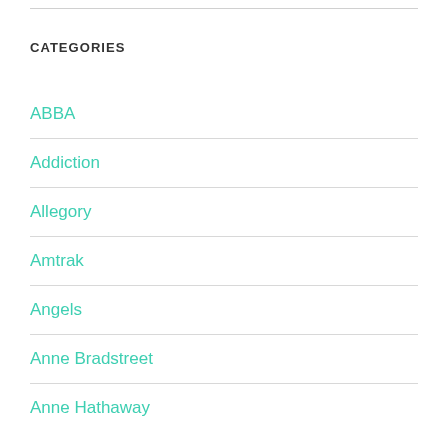CATEGORIES
ABBA
Addiction
Allegory
Amtrak
Angels
Anne Bradstreet
Anne Hathaway